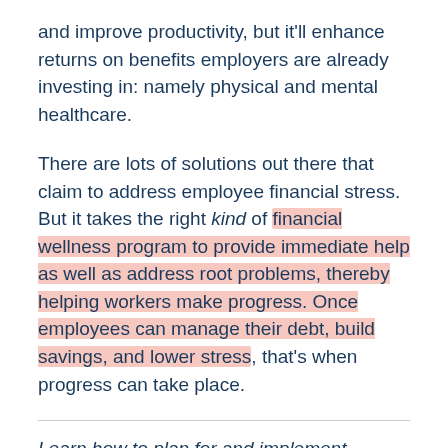and improve productivity, but it'll enhance returns on benefits employers are already investing in: namely physical and mental healthcare.
There are lots of solutions out there that claim to address employee financial stress. But it takes the right kind of financial wellness program to provide immediate help as well as address root problems, thereby helping workers make progress. Once employees can manage their debt, build savings, and lower stress, that's when progress can take place.
Learn how to plan for and implement financial wellness solutions. Download our